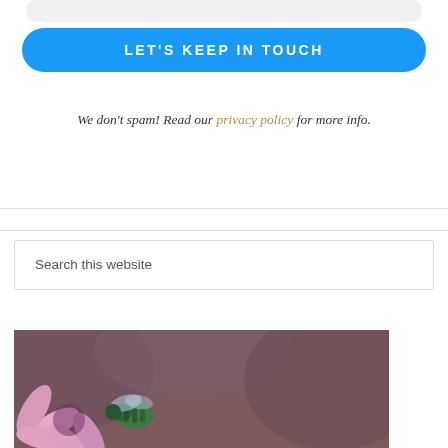[Figure (other): Rounded input/form bar at top of page (light grey pill shape)]
LET'S KEEP IN TOUCH
We don't spam! Read our privacy policy for more info.
Search this website
[Figure (photo): Photograph of a bee on pink flowers (coneflower/echinacea), with a semi-transparent 'Back to top' overlay with an upward-pointing triangle arrow]